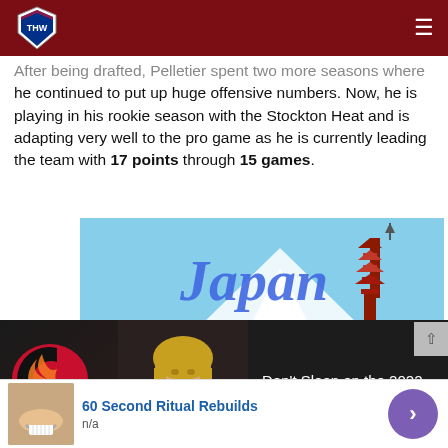THW (The Hockey Writers)
After being drafted, Pelletier spent two more seasons where he continued to put up huge offensive numbers. Now, he is playing in his rookie season with the Stockton Heat and is adapting very well to the pro game as he is currently leading the team with 17 points through 15 games.
[Figure (photo): Japan travel advertisement showing the word Japan in large blue italic text with a pagoda/temple and Mt. Fuji in the background against a blue sky.]
[Figure (photo): Calgary Flames 2023 Stanley Cup Champions promotional video thumbnail. Left panel shows Calgary Flames logo (flaming C) and a blonde woman, with text 'CALGARY FLAMES 2023 STANLEY CUP CHAMPIONS' in gold italic. Right panel on dark background reads: Don't Sleep on the 2022 Calgary Flames or You'll Get Burned!]
[Figure (photo): Advertisement: '60 Second Ritual Rebuilds' with thumbnail of person smiling and a purple play button circle. Subtext: n/a]